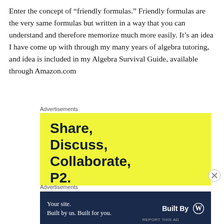Enter the concept of “friendly formulas.” Friendly formulas are the very same formulas but written in a way that you can understand and therefore memorize much more easily. It’s an idea I have come up with through my many years of algebra tutoring, and idea is included in my Algebra Survival Guide, available through Amazon.com
Advertisements
[Figure (other): Yellow advertisement banner with bold dark text reading 'Share, Discuss, Collaborate, P2.']
Advertisements
[Figure (other): Dark navy advertisement banner with text 'Your site. Built by us. Built for you.' and 'Built By' with WordPress logo on the right.]